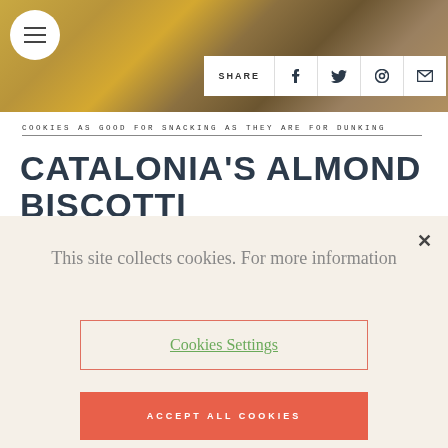[Figure (photo): Close-up photo of almond biscotti cookies showing golden-brown texture with crumbled pieces on a surface]
SHARE (with social icons for Facebook, Twitter, Pinterest, Email)
COOKIES AS GOOD FOR SNACKING AS THEY ARE FOR DUNKING
CATALONIA'S ALMOND BISCOTTI
This site collects cookies. For more information
Cookies Settings
ACCEPT ALL COOKIES